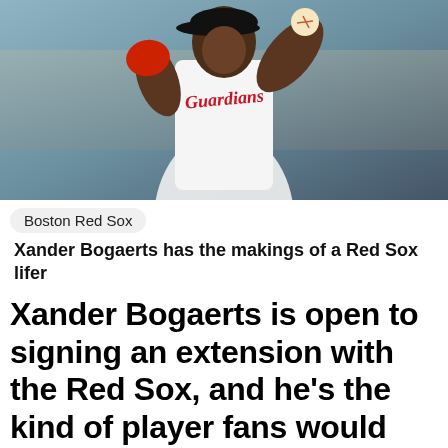[Figure (photo): Baseball player in a white Guardians uniform pitching or throwing, with a red glove, crowd visible in background]
Boston Red Sox
Xander Bogaerts has the makings of a Red Sox lifer
Xander Bogaerts is open to signing an extension with the Red Sox, and he’s the kind of player fans would like to keep around for the long haul.